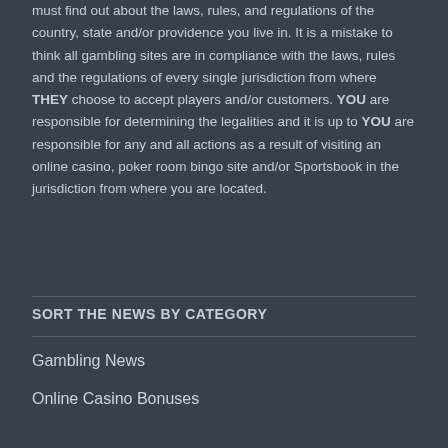must find out about the laws, rules, and regulations of the country, state and/or providence you live in. It is a mistake to think all gambling sites are in compliance with the laws, rules and the regulations of every single jurisdiction from where THEY choose to accept players and/or customers. YOU are responsible for determining the legalities and it is up to YOU are responsible for any and all actions as a result of visiting an online casino, poker room bingo site and/or Sportsbook in the jurisdiction from where you are located.
SORT THE NEWS BY CATEGORY
Gambling News
Online Casino Bonuses